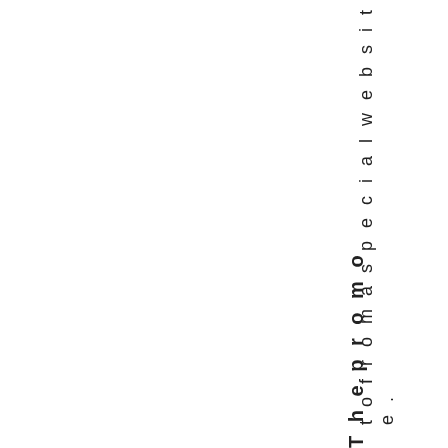t o f r o m a s p e c i a l w e b s i t e .
T h e p r o m o